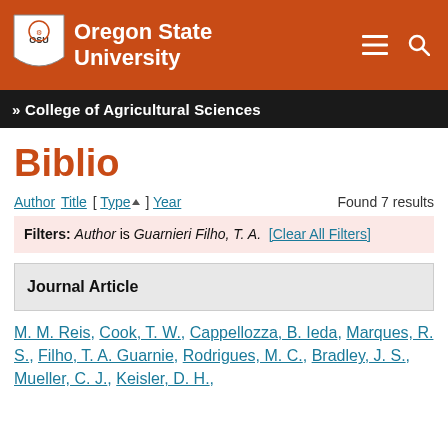[Figure (logo): Oregon State University logo with shield and text on red header bar]
» College of Agricultural Sciences
Biblio
Author Title [ Type▲ ] Year    Found 7 results
Filters: Author is Guarnieri Filho, T. A. [Clear All Filters]
Journal Article
M. M. Reis, Cook, T. W., Cappellozza, B. Ieda, Marques, R. S., Filho, T. A. Guarnie, Rodrigues, M. C., Bradley, J. S., Mueller, C. J., Keisler, D. H.,